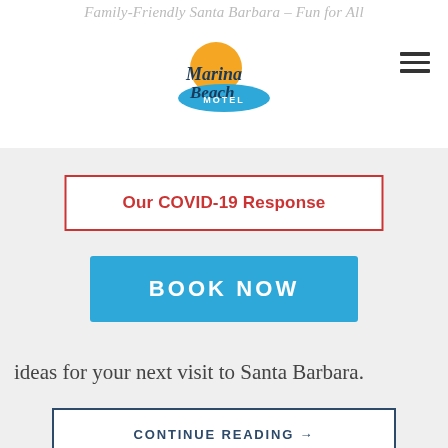Family-Friendly Santa Barbara – Fun for All
[Figure (logo): Marina Beach Motel logo with sun and wave graphic]
Our COVID-19 Response
BOOK NOW
ideas for your next visit to Santa Barbara.
CONTINUE READING →
Posted in Uncategorized | Tagged activities santa barbara, budget, dining, family, family friendly, family friendly santa barbara, fishouse santa barbara, kid friendly santa barbara, Los Agaves, mcconnell's ice cream, restaurants, sambo's, stearns wharf, tacos  Leave a
[Figure (other): reCAPTCHA badge with Privacy and Terms links]
[Figure (other): Row of social media icon circles at bottom of page]